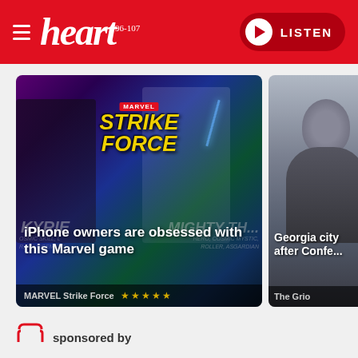[Figure (logo): Heart FM radio logo with hamburger menu icon and LISTEN button on red header background]
[Figure (photo): Marvel Strike Force game advertisement showing two female superhero characters (Kyrie and Mighty Thor) with game title logo]
iPhone owners are obsessed with this Marvel game
MARVEL Strike Force ★★★★★
[Figure (photo): Partially visible photo of a person (bald head from behind) with grey background, related to Georgia city Confederate article]
Georgia city after Confe...
The Grio
sponsored by